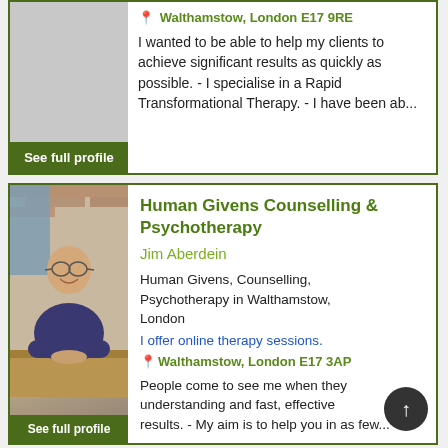See full profile
Walthamstow, London E17 9RE
I wanted to be able to help my clients to achieve significant results as quickly as possible. - I specialise in a Rapid Transformational Therapy. - I have been ab...
[Figure (photo): Photo of Jim Aberdein, an older man with glasses and grey hair, smiling, wearing a dark blue polo shirt, seated at a wooden table with a brick wall background.]
Human Givens Counselling & Psychotherapy
Jim Aberdein
Human Givens, Counselling, Psychotherapy in Walthamstow, London
I offer online therapy sessions.
Walthamstow, London E17 3AP
People come to see me when they understanding and fast, effective results. - My aim is to help you in as few...
See full profile